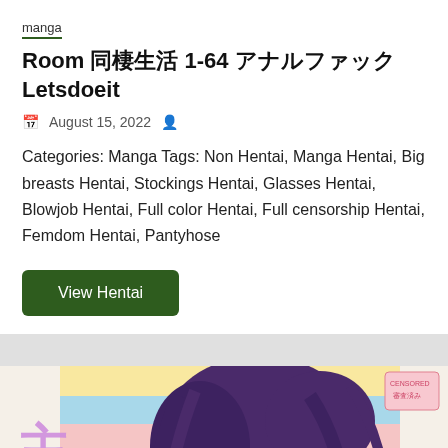manga
Room 同棲生活 1-64 アナルファック Letsdoeit
August 15, 2022
Categories: Manga Tags: Non Hentai, Manga Hentai, Big breasts Hentai, Stockings Hentai, Glasses Hentai, Blowjob Hentai, Full color Hentai, Full censorship Hentai, Femdom Hentai, Pantyhose
View Hentai
[Figure (illustration): Manga/anime style illustration showing a purple-haired female character wearing glasses, lying down. Large Japanese characters visible on the left. Colorful striped background in yellow, blue, and pink tones. Small pink censorship stamp visible in upper right area.]